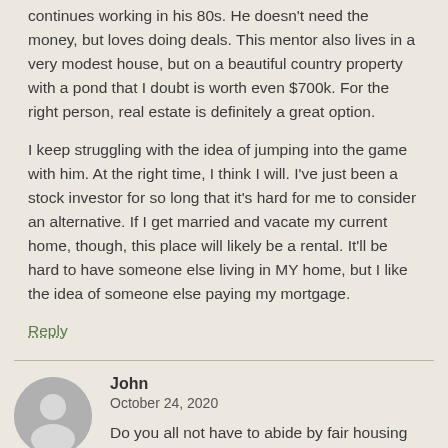continues working in his 80s. He doesn't need the money, but loves doing deals. This mentor also lives in a very modest house, but on a beautiful country property with a pond that I doubt is worth even $700k. For the right person, real estate is definitely a great option.
I keep struggling with the idea of jumping into the game with him. At the right time, I think I will. I've just been a stock investor for so long that it's hard for me to consider an alternative. If I get married and vacate my current home, though, this place will likely be a rental. It'll be hard to have someone else living in MY home, but I like the idea of someone else paying my mortgage.
Reply
John
October 24, 2020
Do you all not have to abide by fair housing laws? Because holy crap, asking to see an applicant's current home is a huge lawsuit waiting to happen.